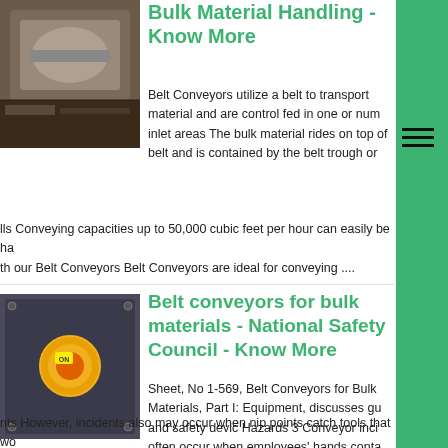[Figure (photo): Industrial conveyor belt component or platform, viewed from above, with grey/brown tones]
Bulk Material Handling - Know More
Belt Conveyors utilize a belt to transport material and are control fed in one or num inlet areas The bulk material rides on top of belt and is contained by the belt trough or lls Conveying capacities up to 50,000 cubic feet per hour can easily be ha th our Belt Conveyors Belt Conveyors are ideal for conveying ....
[Figure (photo): Industrial belt conveyor equipment showing cylindrical roller or drum component, orange and yellow colored, on a dark metal panel]
Belt conveyors for bulk materials - National Safety Council - Know More
Sheet, No 1-569, Belt Conveyors for Bulk Materials, Part I: Equipment, discusses gu and safety devic Hazards 3 Conveyor inci often occur when employees' hands conta nts However, incidents also may occur when nip points catch tools that wo e using (for example, brooms, sticks, shovels, oil cans...